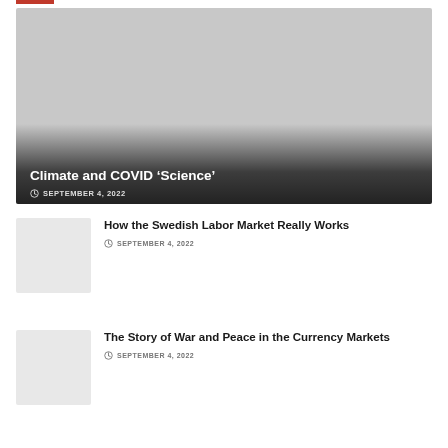[Figure (photo): Featured article image with dark gradient overlay showing article title and date]
Climate and COVID 'Science'
SEPTEMBER 4, 2022
[Figure (photo): Thumbnail image for Swedish Labor Market article]
How the Swedish Labor Market Really Works
SEPTEMBER 4, 2022
[Figure (photo): Thumbnail image for War and Peace in Currency Markets article]
The Story of War and Peace in the Currency Markets
SEPTEMBER 4, 2022